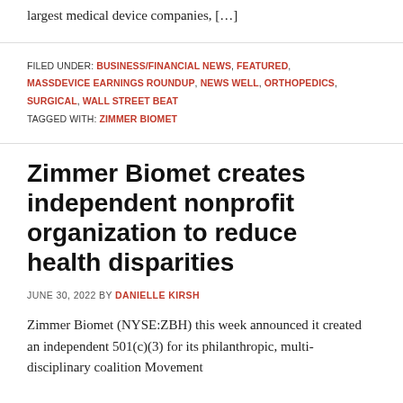largest medical device companies, […]
FILED UNDER: BUSINESS/FINANCIAL NEWS, FEATURED, MASSDEVICE EARNINGS ROUNDUP, NEWS WELL, ORTHOPEDICS, SURGICAL, WALL STREET BEAT
TAGGED WITH: ZIMMER BIOMET
Zimmer Biomet creates independent nonprofit organization to reduce health disparities
JUNE 30, 2022 BY DANIELLE KIRSH
Zimmer Biomet (NYSE:ZBH) this week announced it created an independent 501(c)(3) for its philanthropic, multi-disciplinary coalition Movement